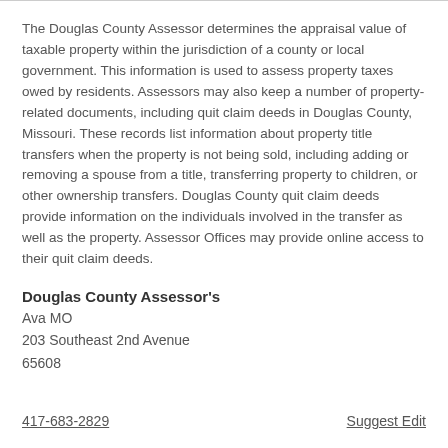The Douglas County Assessor determines the appraisal value of taxable property within the jurisdiction of a county or local government. This information is used to assess property taxes owed by residents. Assessors may also keep a number of property-related documents, including quit claim deeds in Douglas County, Missouri. These records list information about property title transfers when the property is not being sold, including adding or removing a spouse from a title, transferring property to children, or other ownership transfers. Douglas County quit claim deeds provide information on the individuals involved in the transfer as well as the property. Assessor Offices may provide online access to their quit claim deeds.
Douglas County Assessor's
Ava MO
203 Southeast 2nd Avenue
65608
417-683-2829
Suggest Edit